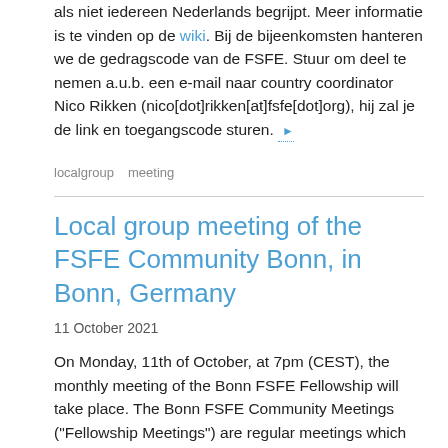als niet iedereen Nederlands begrijpt. Meer informatie is te vinden op de wiki. Bij de bijeenkomsten hanteren we de gedragscode van de FSFE. Stuur om deel te nemen a.u.b. een e-mail naar country coordinator Nico Rikken (nico[dot]rikken[at]fsfe[dot]org), hij zal je de link en toegangscode sturen. ▶
localgroup   meeting
Local group meeting of the FSFE Community Bonn, in Bonn, Germany
11 October 2021
On Monday, 11th of October, at 7pm (CEST), the monthly meeting of the Bonn FSFE Fellowship will take place. The Bonn FSFE Community Meetings ("Fellowship Meetings") are regular meetings which are taking place on every second Monday of the month. The current meeting place is Dotty's at BTHV, Christian-Miesen-Straße 1, 53129 Bonn. The meetings are open for everyone who is interested in Free Software. ▶